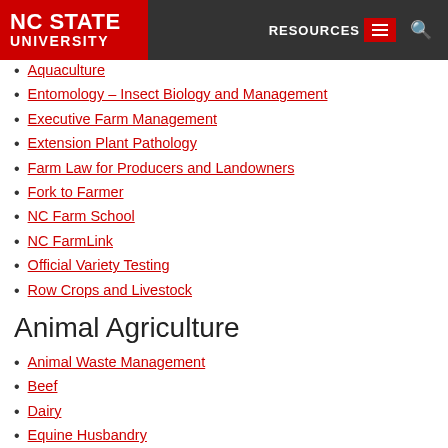NC STATE UNIVERSITY | RESOURCES
Aquaculture
Entomology – Insect Biology and Management
Executive Farm Management
Extension Plant Pathology
Farm Law for Producers and Landowners
Fork to Farmer
NC Farm School
NC FarmLink
Official Variety Testing
Row Crops and Livestock
Animal Agriculture
Animal Waste Management
Beef
Dairy
Equine Husbandry
Feed Milling
Forages